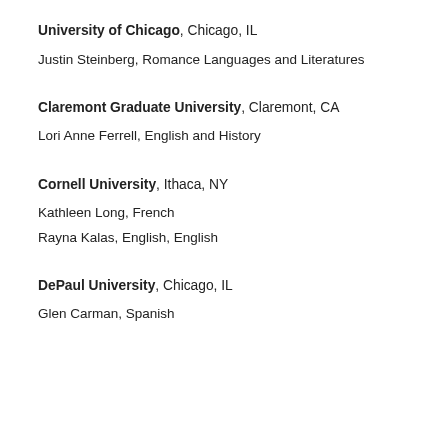University of Chicago, Chicago, IL
Justin Steinberg, Romance Languages and Literatures
Claremont Graduate University, Claremont, CA
Lori Anne Ferrell, English and History
Cornell University, Ithaca, NY
Kathleen Long, French
Rayna Kalas, English, English
DePaul University, Chicago, IL
Glen Carman, Spanish